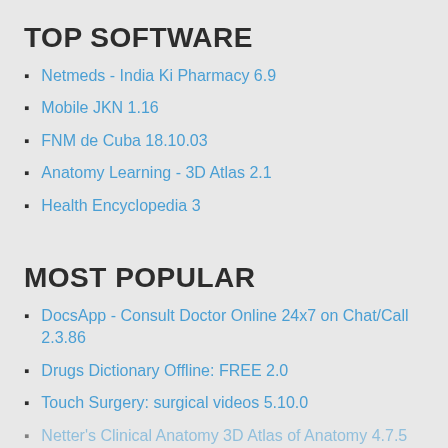TOP SOFTWARE
Netmeds - India Ki Pharmacy 6.9
Mobile JKN 1.16
FNM de Cuba 18.10.03
Anatomy Learning - 3D Atlas 2.1
Health Encyclopedia 3
MOST POPULAR
DocsApp - Consult Doctor Online 24x7 on Chat/Call 2.3.86
Drugs Dictionary Offline: FREE 2.0
Touch Surgery: surgical videos 5.10.0
Netter's Clinical Anatomy 3D Atlas of Anatomy 4.7.5